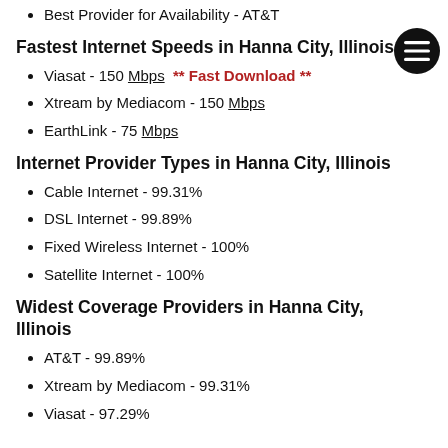Best Provider for Availability - AT&T
Fastest Internet Speeds in Hanna City, Illinois
Viasat - 150 Mbps ** Fast Download **
Xtream by Mediacom - 150 Mbps
EarthLink - 75 Mbps
Internet Provider Types in Hanna City, Illinois
Cable Internet - 99.31%
DSL Internet - 99.89%
Fixed Wireless Internet - 100%
Satellite Internet - 100%
Widest Coverage Providers in Hanna City, Illinois
AT&T - 99.89%
Xtream by Mediacom - 99.31%
Viasat - 97.29%
Below is a list of the Fiber Internet options in Hanna City, Illinois with